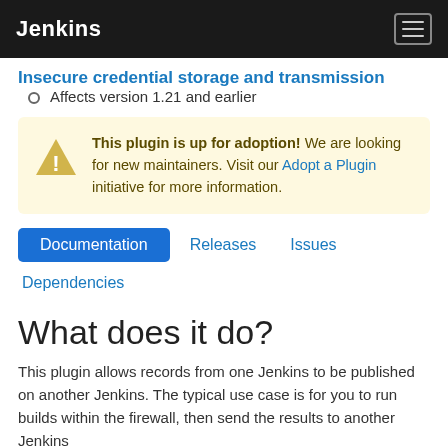Jenkins
Insecure credential storage and transmission
Affects version 1.21 and earlier
This plugin is up for adoption! We are looking for new maintainers. Visit our Adopt a Plugin initiative for more information.
Documentation  Releases  Issues  Dependencies
What does it do?
This plugin allows records from one Jenkins to be published on another Jenkins. The typical use case is for you to run builds within the firewall, then send the results to another Jenkins